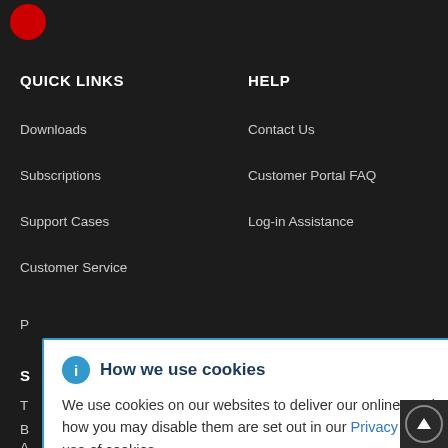[Figure (logo): Red Hat logo circle (red circle icon, partially visible)]
QUICK LINKS
HELP
Downloads
Contact Us
Subscriptions
Customer Portal FAQ
Support Cases
Log-in Assistance
Customer Service
[Figure (screenshot): Cookie consent modal dialog with info icon, title 'How we use cookies', close button, body text about cookies and Privacy Statement link]
How we use cookies
We use cookies on our websites to deliver our online services. Details about how we use cookies and how you may disable them are set out in our Privacy Statement. By using this website you agree to our use of cookies.